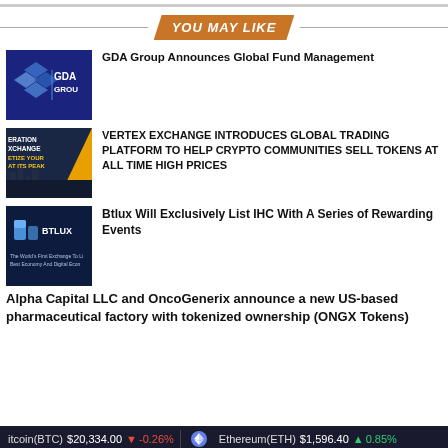YOU MAY LIKE
[Figure (logo): GDA Group logo — blue background with diamond shapes and GDA GROUP text]
GDA Group Announces Global Fund Management
[Figure (logo): Vertex Exchange logo — dark blue and yellow with text GENERATION EXCHANGE MONETIZE YOUR AT ITS PEAK]
VERTEX EXCHANGE INTRODUCES GLOBAL TRADING PLATFORM TO HELP CRYPTO COMMUNITIES SELL TOKENS AT ALL TIME HIGH PRICES
[Figure (logo): Btlux logo — dark blue background with BTLUX branding and The World's First Exchange text]
Btlux Will Exclusively List IHC With A Series of Rewarding Events
Alpha Capital LLC and OncoGenerix announce a new US-based pharmaceutical factory with tokenized ownership (ONGX Tokens)
Bitcoin(BTC) $20,334.00 ↓ -0.26%  Ethereum(ETH) $1,596.40 ↑ 0.85%